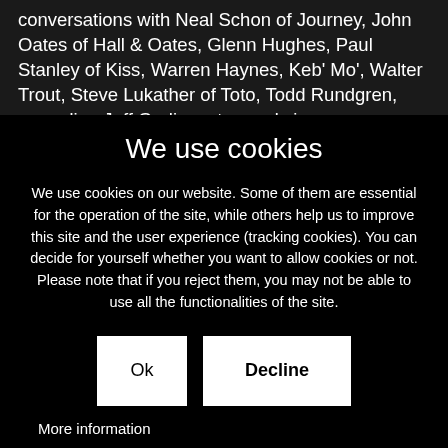conversations with Neal Schon of Journey, John Oates of Hall & Oates, Glenn Hughes, Paul Stanley of Kiss, Warren Haynes, Keb' Mo', Walter Trout, Steve Lukather of Toto, Todd Rundgren, comedian Jeff Garlin, esteemed singer-
We use cookies
We use cookies on our website. Some of them are essential for the operation of the site, while others help us to improve this site and the user experience (tracking cookies). You can decide for yourself whether you want to allow cookies or not. Please note that if you reject them, you may not be able to use all the functionalities of the site.
Ok
Decline
More information